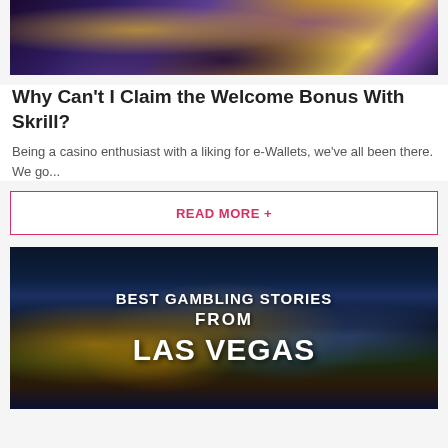[Figure (photo): Casino chips and coins image cropped at top]
Why Can't I Claim the Welcome Bonus With Skrill?
Being a casino enthusiast with a liking for e-Wallets, we've all been there. We go...
READ MORE +
[Figure (photo): Aerial night view of Las Vegas Strip with overlaid text: BEST GAMBLING STORIES FROM LAS VEGAS]